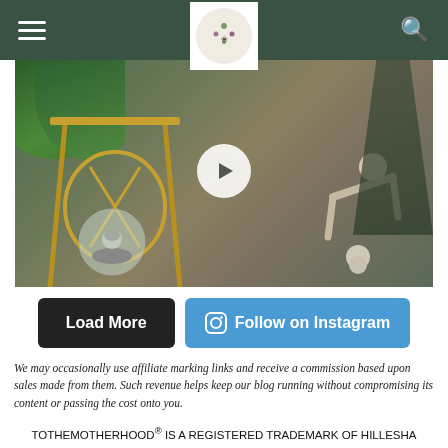TOTHEMOTHERHOOD — navigation header with hamburger menu, logo, and search icon
[Figure (photo): A video thumbnail showing decorative figurines including a snow globe with a seal and a sloth figurine on a gold side table with a plant in the background. A play button overlay is visible.]
Load More
Follow on Instagram
We may occasionally use affiliate marking links and receive a commission based upon sales made from them. Such revenue helps keep our blog running without compromising its content or passing the cost onto you.
TOTHEMOTHERHOOD® IS A REGISTERED TRADEMARK OF HILLESHA O'NAN. ALL CONTENT ON THIS SITE IS